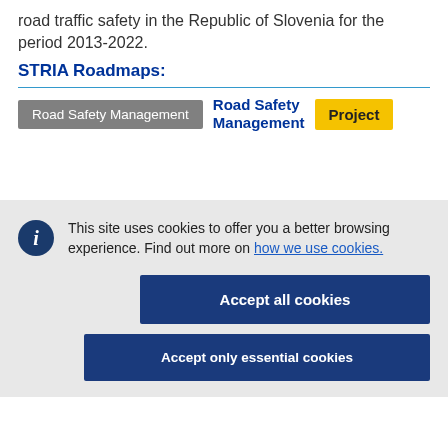road traffic safety in the Republic of Slovenia for the period 2013-2022.
STRIA Roadmaps:
Road Safety Management  Road Safety Management  Project
This site uses cookies to offer you a better browsing experience. Find out more on how we use cookies.
Accept all cookies
Accept only essential cookies